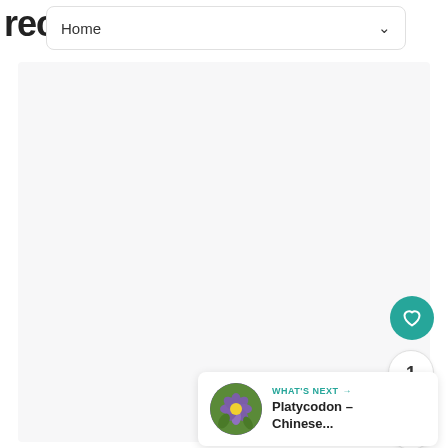rec
Home
[Figure (other): Large empty light grey content area placeholder]
[Figure (other): Teal heart/like button circle]
1
[Figure (other): Share button circle]
WHAT'S NEXT → Platycodon – Chinese...